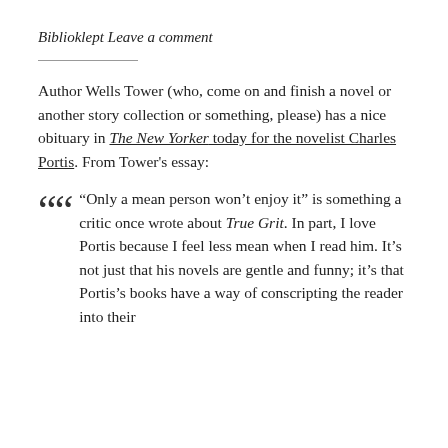Biblioklept
Leave a comment
Author Wells Tower (who, come on and finish a novel or another story collection or something, please) has a nice obituary in The New Yorker today for the novelist Charles Portis. From Tower's essay:
“Only a mean person won’t enjoy it” is something a critic once wrote about True Grit. In part, I love Portis because I feel less mean when I read him. It’s not just that his novels are gentle and funny; it’s that Portis’s books have a way of conscripting the reader into their